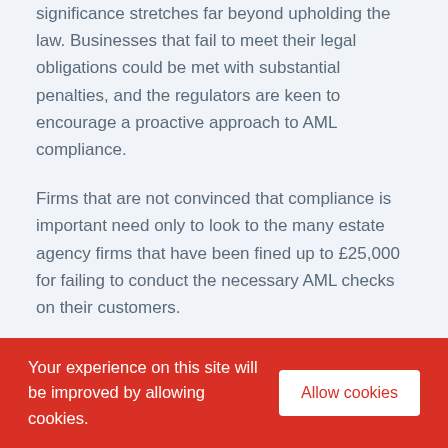significance stretches far beyond upholding the law. Businesses that fail to meet their legal obligations could be met with substantial penalties, and the regulators are keen to encourage a proactive approach to AML compliance.
Firms that are not convinced that compliance is important need only to look to the many estate agency firms that have been fined up to £25,000 for failing to conduct the necessary AML checks on their customers.
Outside of financial penalties, businesses that do
Your experience on this site will be improved by allowing cookies. Allow cookies